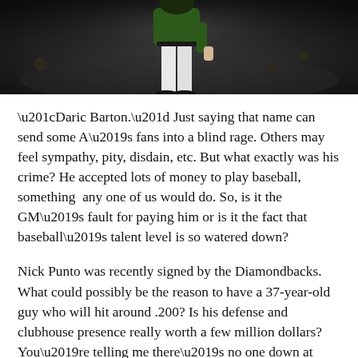[Figure (photo): A baseball player in a green Oakland Athletics uniform walking or standing on the field at night, cropped to show torso and legs.]
“Daric Barton.” Just saying that name can send some A’s fans into a blind rage. Others may feel sympathy, pity, disdain, etc. But what exactly was his crime? He accepted lots of money to play baseball, something  any one of us would do. So, is it the GM’s fault for paying him or is it the fact that baseball’s talent level is so watered down?
Nick Punto was recently signed by the Diamondbacks. What could possibly be the reason to have a 37-year-old guy who will hit around .200? Is his defense and clubhouse presence really worth a few million dollars? You’re telling me there’s no one down at Triple-A Reno who could be a utility infielder for Arizona? The apparent answer to that is “no.” I’ve nothing against Punto, but it calls into question the entire notion of what a professional athlete really is